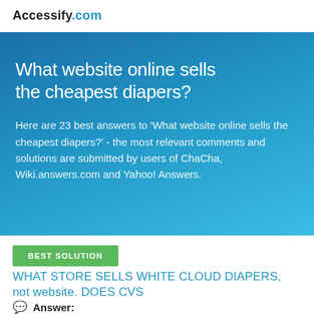Accessify.com
What website online sells the cheapest diapers?
Here are 23 best answers to 'What website online sells the cheapest diapers?' - the most relevant comments and solutions are submitted by users of ChaCha, Wiki.answers.com and Yahoo! Answers.
BEST SOLUTION
WHAT STORE SELLS WHITE CLOUD DIAPERS, not website. DOES CVS
Answer: